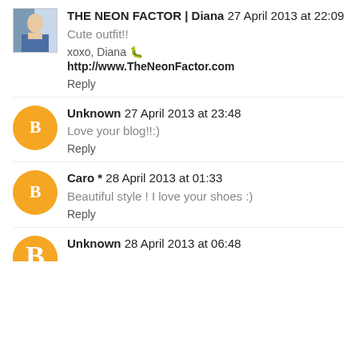[Figure (photo): Profile photo thumbnail of THE NEON FACTOR Diana commenter]
THE NEON FACTOR | Diana  27 April 2013 at 22:09
Cute outfit!!
xoxo, Diana 👻
http://www.TheNeonFactor.com
Reply
[Figure (logo): Orange blogger B icon avatar for Unknown commenter]
Unknown  27 April 2013 at 23:48
Love your blog!!:)
Reply
[Figure (logo): Orange blogger B icon avatar for Caro * commenter]
Caro *  28 April 2013 at 01:33
Beautiful style ! I love your shoes :)
Reply
[Figure (logo): Orange blogger B icon avatar for Unknown commenter (partial)]
Unknown  28 April 2013 at 06:48